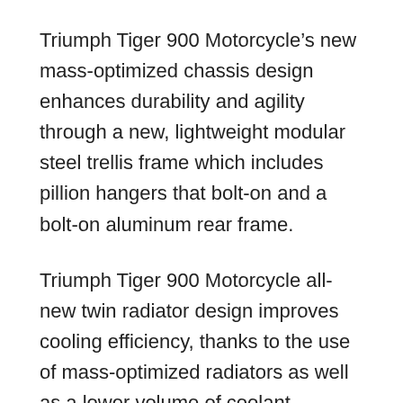Triumph Tiger 900 Motorcycle’s new mass-optimized chassis design enhances durability and agility through a new, lightweight modular steel trellis frame which includes pillion hangers that bolt-on and a bolt-on aluminum rear frame.
Triumph Tiger 900 Motorcycle all-new twin radiator design improves cooling efficiency, thanks to the use of mass-optimized radiators as well as a lower volume of coolant.
Outstanding stopping power and top-quality leading in the industry Brembo Stylema brakes